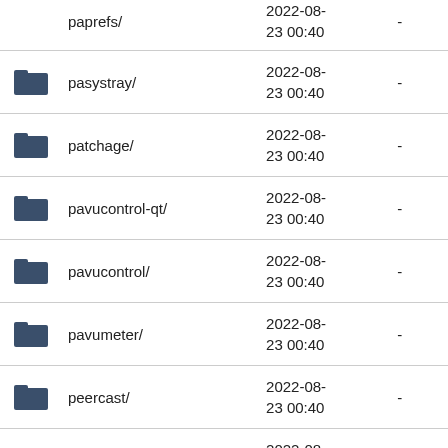paprefs/ 2022-08-23 00:40 -
pasystray/ 2022-08-23 00:40 -
patchage/ 2022-08-23 00:40 -
pavucontrol-qt/ 2022-08-23 00:40 -
pavucontrol/ 2022-08-23 00:40 -
pavumeter/ 2022-08-23 00:40 -
peercast/ 2022-08-23 00:40 -
pianobar/ 2022-08-23 00:40 -
picard/ 2022-08-23 -